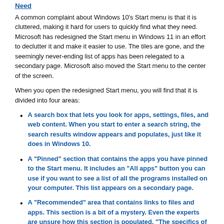Need
A common complaint about Windows 10’s Start menu is that it is cluttered, making it hard for users to quickly find what they need. Microsoft has redesigned the Start menu in Windows 11 in an effort to declutter it and make it easier to use. The tiles are gone, and the seemingly never-ending list of apps has been relegated to a secondary page. Microsoft also moved the Start menu to the center of the screen.
When you open the redesigned Start menu, you will find that it is divided into four areas:
A search box that lets you look for apps, settings, files, and web content. When you start to enter a search string, the search results window appears and populates, just like it does in Windows 10.
A “Pinned” section that contains the apps you have pinned to the Start menu. It includes an “All apps” button you can use if you want to see a list of all the programs installed on your computer. This list appears on a secondary page.
A “Recommended” area that contains links to files and apps. This section is a bit of a mystery. Even the experts are unsure how this section is populated. “The specifics of how